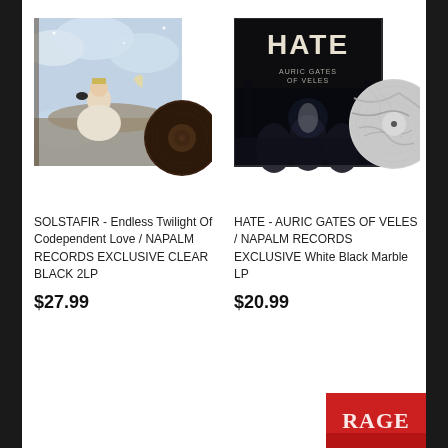[Figure (photo): SOLSTAFIR - Endless Twilight Of Codependent Love vinyl album product image showing album cover with a woman seated on clouds and a dark marbled vinyl record]
SOLSTAFIR - Endless Twilight Of Codependent Love / NAPALM RECORDS EXCLUSIVE CLEAR BLACK 2LP
$27.99
[Figure (photo): HATE - AURIC GATES OF VELES vinyl album product image showing dark album cover with the word HATE and a white black marble vinyl record]
HATE - AURIC GATES OF VELES / NAPALM RECORDS EXCLUSIVE White Black Marble LP
$20.99
[Figure (photo): Partial view of another album product image at the bottom right of the page]